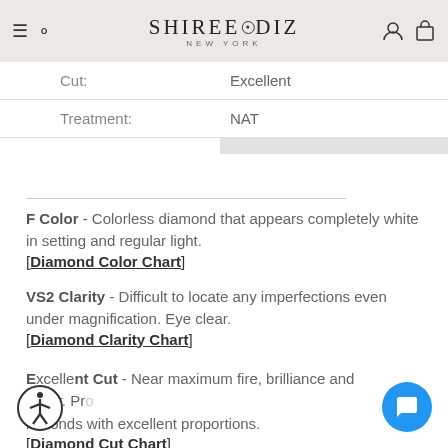SHIREE◦DIZ NEW YORK
| Property | Value |
| --- | --- |
| Cut: | Excellent |
| Treatment: | NAT |
F Color - Colorless diamond that appears completely white in setting and regular light. [Diamond Color Chart]
VS2 Clarity - Difficult to locate any imperfections even under magnification. Eye clear. [Diamond Clarity Chart]
Excellent Cut - Near maximum fire, brilliance and luster. Proposed for diamonds with excellent proportions. [Diamond Cut Chart]